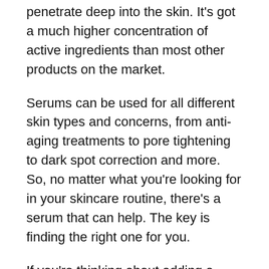penetrate deep into the skin. It's got a much higher concentration of active ingredients than most other products on the market.
Serums can be used for all different skin types and concerns, from anti-aging treatments to pore tightening to dark spot correction and more. So, no matter what you're looking for in your skincare routine, there's a serum that can help. The key is finding the right one for you.
If you're thinking about adding a serum to your routine, you've come to the right place! We've broken down everything you need to know about serums, from what they do to how they work and why they're so important.